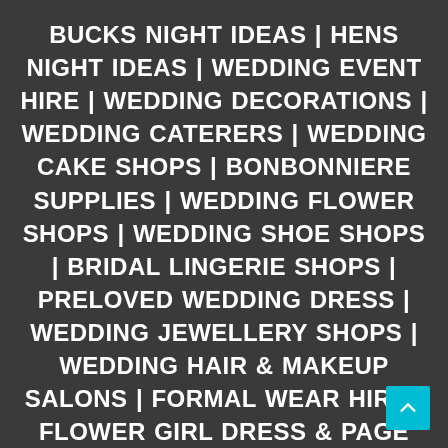BUCKS NIGHT IDEAS | HENS NIGHT IDEAS | WEDDING EVENT HIRE | WEDDING DECORATIONS | WEDDING CATERERS | WEDDING CAKE SHOPS | BONBONNIERE SUPPLIES | WEDDING FLOWER SHOPS | WEDDING SHOE SHOPS | BRIDAL LINGERIE SHOPS | PRELOVED WEDDING DRESS | WEDDING JEWELLERY SHOPS | WEDDING HAIR & MAKEUP SALONS | FORMAL WEAR HIRE | FLOWER GIRL DRESS & PAGE BOY SUIT SHOPS | BRIDAL DRESS DESIGNERS | BRIDESMAID DRESS SHOPS | WEDDING & BRIDAL BEAUTY SERVICES | WEDDING ACCESSORY SHOPS | WEDDING CELEBRANTS | WEDDING PHOTOGRAPHERS |